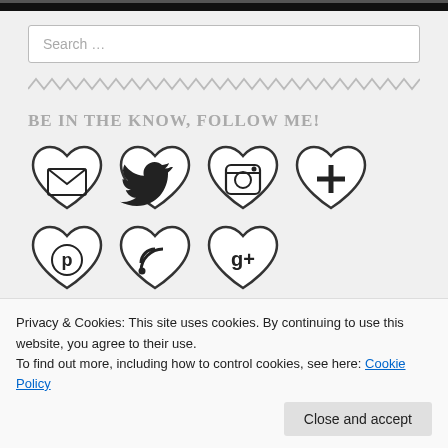[Figure (screenshot): Search input box with placeholder text 'Search ...']
[Figure (illustration): Zigzag/wavy decorative divider line in grey]
BE IN THE KNOW, FOLLOW ME!
[Figure (illustration): Row of heart-shaped social media icons: email, Twitter, Instagram, plus/Bloglovin]
[Figure (illustration): Second row of heart-shaped social media icons: Pinterest/circle, RSS feed, Google+]
Privacy & Cookies: This site uses cookies. By continuing to use this website, you agree to their use.
To find out more, including how to control cookies, see here: Cookie Policy
Close and accept